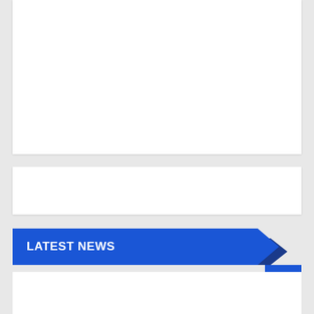[Figure (other): White content card area (top) on grey background]
[Figure (other): White content card area (middle) on grey background]
LATEST NEWS
How to Repurpose Content for Maximum Results